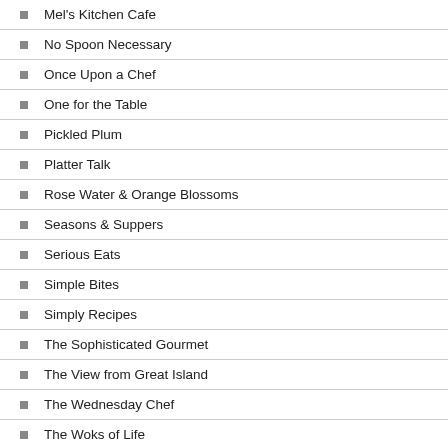Mel's Kitchen Cafe
No Spoon Necessary
Once Upon a Chef
One for the Table
Pickled Plum
Platter Talk
Rose Water & Orange Blossoms
Seasons & Suppers
Serious Eats
Simple Bites
Simply Recipes
The Sophisticated Gourmet
The View from Great Island
The Wednesday Chef
The Woks of Life